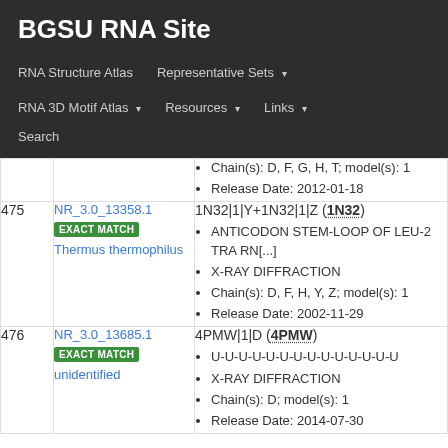BGSU RNA Site
RNA Structure Atlas
Representative Sets
RNA 3D Motif Atlas
Resources
Links
Search
| # | ID / Match | Entry Info |
| --- | --- | --- |
|  |  | Chain(s): D, F, G, H, T; model(s): 1
Release Date: 2012-01-18 |
| 475 | NR_3.0_13358.1
EXACT MATCH
Thermus thermophilus | 1N32|1|Y+1N32|1|Z (1N32)
ANTICODON STEM-LOOP OF LEU-2 TRA RN[...]
X-RAY DIFFRACTION
Chain(s): D, F, H, Y, Z; model(s): 1
Release Date: 2002-11-29 |
| 476 | NR_3.0_13685.1
EXACT MATCH
unidentified | 4PMW|1|D (4PMW)
U-U-U-U-U-U-U-U-U-U-U-U-U-U
X-RAY DIFFRACTION
Chain(s): D; model(s): 1
Release Date: 2014-07-30 |